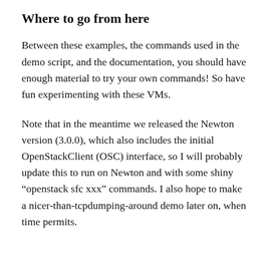Where to go from here
Between these examples, the commands used in the demo script, and the documentation, you should have enough material to try your own commands! So have fun experimenting with these VMs.
Note that in the meantime we released the Newton version (3.0.0), which also includes the initial OpenStackClient (OSC) interface, so I will probably update this to run on Newton and with some shiny “openstack sfc xxx” commands. I also hope to make a nicer-than-tcpdumping-around demo later on, when time permits.